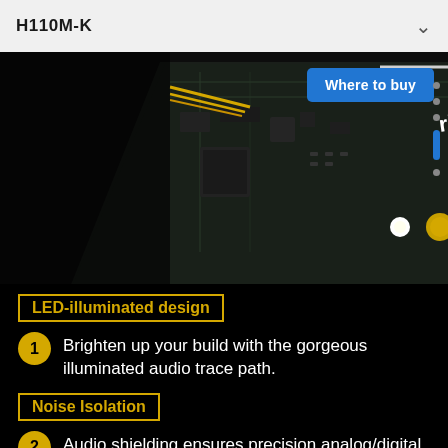H110M-K
Where to buy
[Figure (photo): Close-up photo of MSI H110M-K motherboard on black background, showing PCB traces, capacitors, connectors, and a label reading 'right track' on the audio section. A yellow circle with number 4 is visible near the audio capacitors.]
LED-illuminated design
Brighten up your build with the gorgeous illuminated audio trace path.
Noise Isolation
Audio shielding ensures precision analog/digital separation and greatly reduced multi-lateral interference.